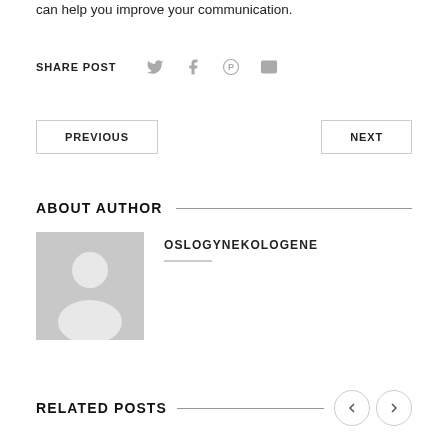can help you improve your communication.
SHARE POST
PREVIOUS
NEXT
ABOUT AUTHOR
[Figure (illustration): Gray placeholder author avatar with silhouette of a person]
OSLOGYNEKOLOGENE
RELATED POSTS